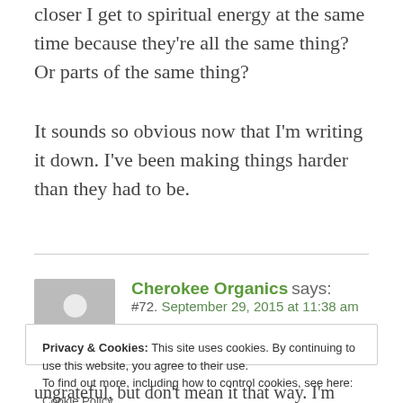closer I get to spiritual energy at the same time because they're all the same thing? Or parts of the same thing?
It sounds so obvious now that I'm writing it down. I've been making things harder than they had to be.
Cherokee Organics says: #72. September 29, 2015 at 11:38 am
Privacy & Cookies: This site uses cookies. By continuing to use this website, you agree to their use. To find out more, including how to control cookies, see here: Cookie Policy
ungrateful, but don't mean it that way. I'm more curious if